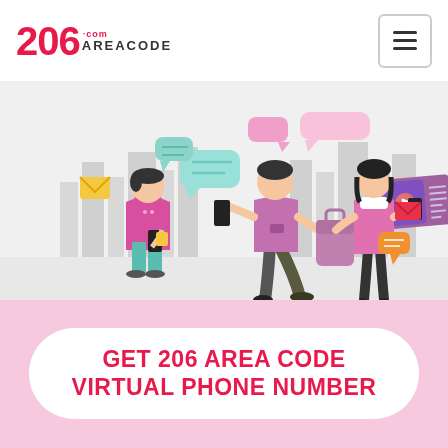206 AREACODE.COM — navigation logo and hamburger menu
[Figure (illustration): Illustration of three people using smartphones, with chat bubbles, email icons, and a video player floating around them. City skyline in the background.]
GET 206 AREA CODE VIRTUAL PHONE NUMBER